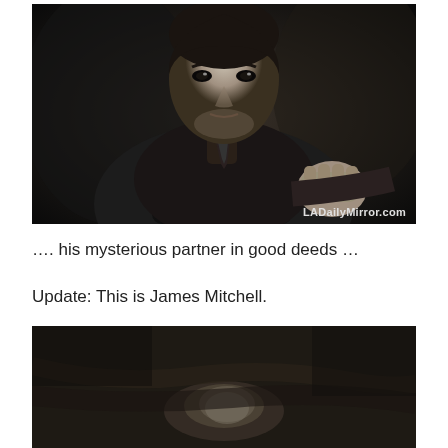[Figure (photo): Black and white film still of a young man in a dark shirt with neckerchief, leaning forward with an intense expression. Watermark reads LADailyMirror.com in bottom right.]
…. his mysterious partner in good deeds …
Update: This is James Mitchell.
[Figure (photo): Black and white film still showing a partial view, mostly dark with some lighter shapes visible at bottom of frame.]